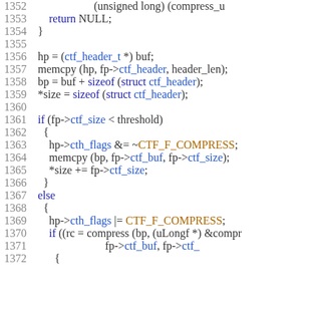[Figure (screenshot): Source code listing lines 1352-1372 in C, showing code for CTF header operations including memcpy, sizeof, and compress calls with syntax highlighting.]